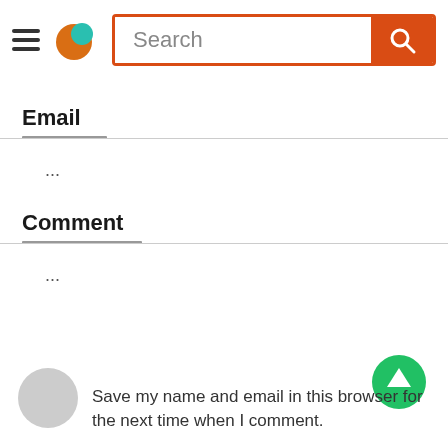[Figure (screenshot): Page header with hamburger menu, colorful logo (orange circle with teal accent), and search bar with orange border and orange search button]
Email
...
Comment
...
[Figure (other): Green circular upload/scroll-to-top button with white upward arrow]
Save my name and email in this browser for the next time when I comment.